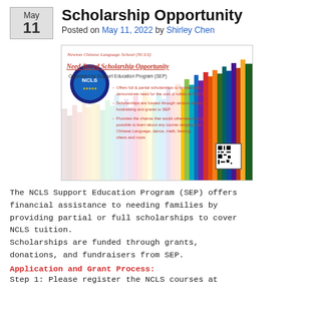Scholarship Opportunity
Posted on May 11, 2022 by Shirley Chen
[Figure (infographic): Newton Chinese Language School (NCLS) Need-Based Scholarship Opportunity flyer. Organized by Support Education Program (SEP). Offers full & partial scholarships to families that demonstrate need for the cost of tuition at NCLS. Scholarships are funded through various donations, fundraising and grants to SEP. Provides the chance that would otherwise be not possible to learn about any course ranging from Chinese Language, dance, math, fencing, chess and more. Background shows colorful pencils. QR code in bottom right.]
The NCLS Support Education Program (SEP) offers financial assistance to needing families by providing partial or full scholarships to cover NCLS tuition.
Scholarships are funded through grants, donations, and fundraisers from SEP.
Application and Grant Process:
Step 1: Please register the NCLS courses at